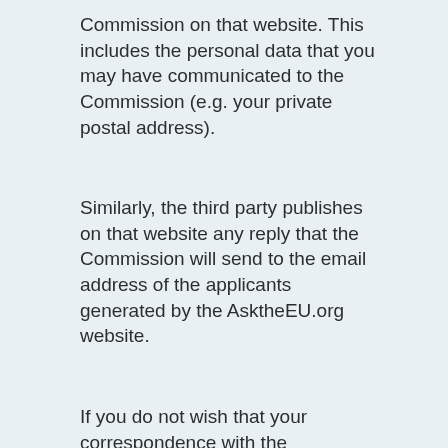Commission on that website. This includes the personal data that you may have communicated to the Commission (e.g. your private postal address).
Similarly, the third party publishes on that website any reply that the Commission will send to the email address of the applicants generated by the AsktheEU.org website.
If you do not wish that your correspondence with the Commission is published on a private third-party website such as AsktheEU.org, you can provide us with an alternative, private e-mail address